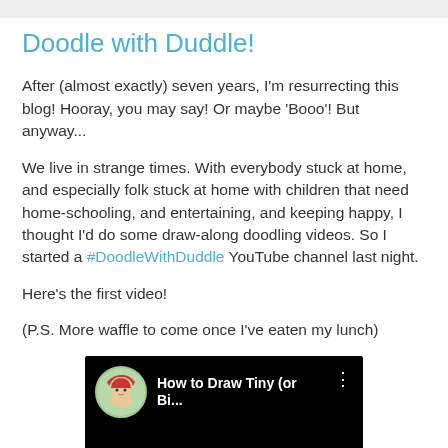Doodle with Duddle!
After (almost exactly) seven years, I'm resurrecting this blog! Hooray, you may say! Or maybe 'Booo'! But anyway...
We live in strange times. With everybody stuck at home, and especially folk stuck at home with children that need home-schooling, and entertaining, and keeping happy, I thought I'd do some draw-along doodling videos. So I started a #DoodleWithDuddle YouTube channel last night.
Here's the first video!
(P.S. More waffle to come once I've eaten my lunch)
[Figure (screenshot): YouTube video thumbnail showing a character avatar (cartoon girl with pirate hat) and the title 'How to Draw Tiny (or Bi...' on a black background with a three-dot menu icon]